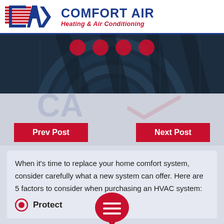[Figure (logo): Comfort Air Heating & Air Conditioning logo with CA monogram and horizontal lines]
[Figure (photo): Close-up photo of HVAC fan/air conditioning unit blades, dark blue-grey tones, with red navigation dots at top]
Prev Post
Next Post
When it's time to replace your home comfort system, consider carefully what a new system can offer. Here are 5 factors to consider when purchasing an HVAC system:
Protect